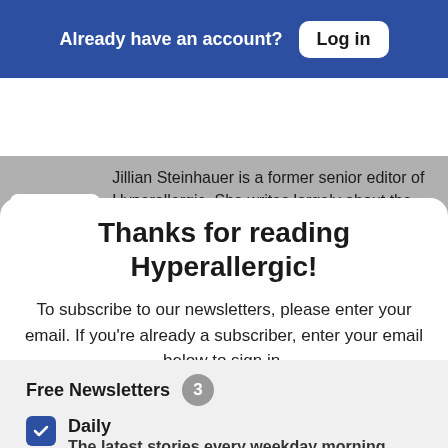Already have an account? Log in
Jillian Steinhauer is a former senior editor of Hyperallergic. She writes largely about the intersection of art... More by Jillian Steinhauer
Thanks for reading Hyperallergic!
To subscribe to our newsletters, please enter your email. If you're already a subscriber, enter your email below to sign in.
Free Newsletters 3
Daily - The latest stories every weekday morning